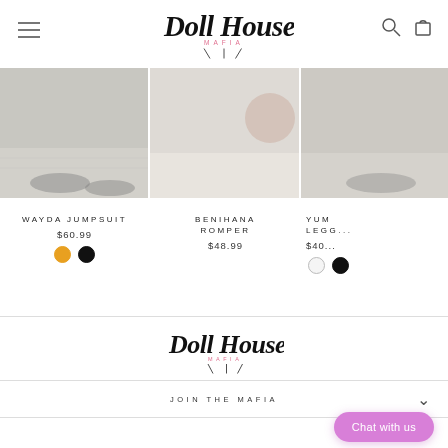[Figure (logo): Doll House Mafia script logo in black cursive with 'MAFIA' in small pink letters below]
[Figure (logo): Hamburger menu icon]
[Figure (logo): Search and cart icons]
[Figure (photo): Product photo for Wayda Jumpsuit showing sneakers on tile floor]
WAYDA JUMPSUIT
$60.99
[Figure (photo): Product photo for Benihana Romper]
BENIHANA ROMPER
$48.99
[Figure (photo): Partial product photo for third item (YUM... LEGG...)]
YUM... LEGG...
$40...
[Figure (logo): Doll House Mafia footer logo in black cursive script]
JOIN THE MAFIA
[Figure (other): Pink rounded chat button reading 'Chat with us']